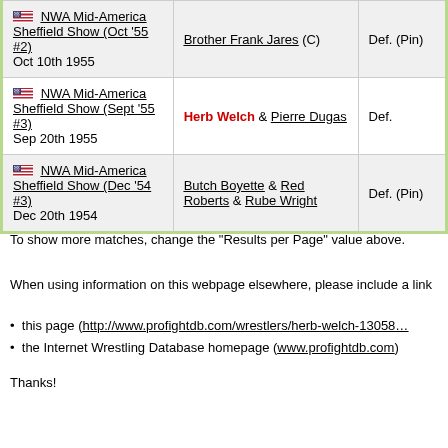| Event | Opponent | Result |
| --- | --- | --- |
| NWA Mid-America Sheffield Show (Oct '55 #2)
Oct 10th 1955 | Brother Frank Jares (C) | Def. (Pin) |
| NWA Mid-America Sheffield Show (Sept '55 #3)
Sep 20th 1955 | Herb Welch & Pierre Dugas | Def. |
| NWA Mid-America Sheffield Show (Dec '54 #3)
Dec 20th 1954 | Butch Boyette & Red Roberts & Rube Wright | Def. (Pin) |
To show more matches, change the "Results per Page" value above.
When using information on this webpage elsewhere, please include a link
this page (http://www.profightdb.com/wrestlers/herb-welch-13058…
the Internet Wrestling Database homepage (www.profightdb.com)
Thanks!